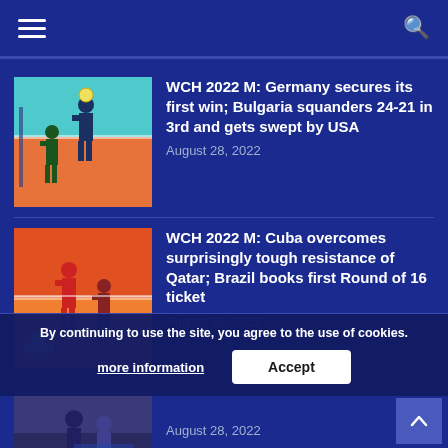Navigation menu and search
[Figure (photo): Volleyball players in action at WCH 2022, teal/orange court]
WCH 2022 M: Germany secures its first win; Bulgaria squanders 24-21 in 3rd and gets swept by USA
August 28, 2022
[Figure (photo): Volleyball players in action at WCH 2022, orange/red court]
WCH 2022 M: Cuba overcomes surprisingly tough resistance of Qatar; Brazil books first Round of 16 ticket
August 28, 2022
[Figure (photo): Volleyball players at WCH 2022, Korean Air Jumbos, player number 16 visible]
August 28, 2022
By continuing to use the site, you agree to the use of cookies. more information Accept